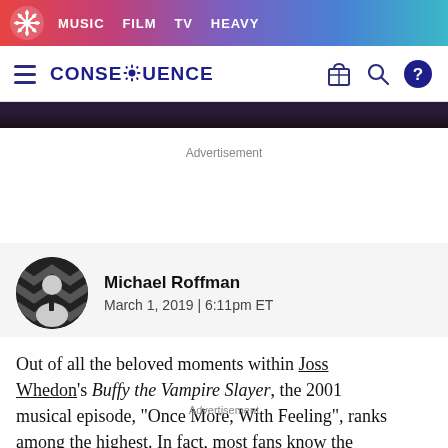MUSIC  FILM  TV  HEAVY
CONSEQUENCE
Advertisement
Michael Roffman
March 1, 2019 | 6:11pm ET
Out of all the beloved moments within Joss Whedon's Buffy the Vampire Slayer, the 2001 musical episode, "Once More, With Feeling", ranks among the highest. In fact, most fans know the words to every song, which is why they'll sink their